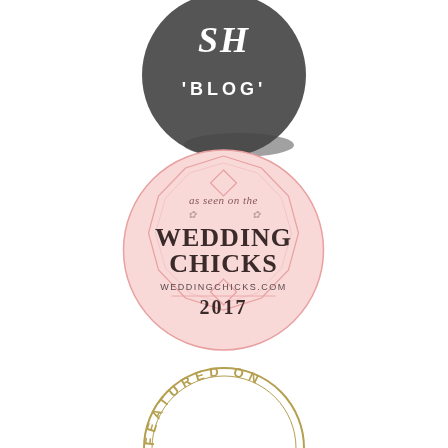[Figure (logo): Dark grey circular blog badge with script letters and 'BLOG' text in white]
[Figure (logo): Pink circular badge reading 'as seen on the WEDDING CHICKS weddingchicks.com 2017' with geometric octagon border]
[Figure (logo): Gold circular badge partially visible reading 'FEATURED ON']